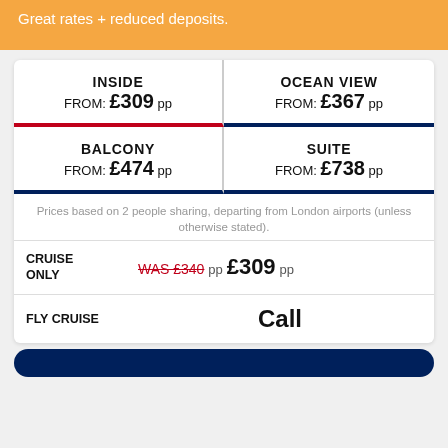Great rates + reduced deposits.
| Room Type | Price |
| --- | --- |
| INSIDE | FROM: £309 pp |
| OCEAN VIEW | FROM: £367 pp |
| BALCONY | FROM: £474 pp |
| SUITE | FROM: £738 pp |
Prices based on 2 people sharing, departing from London airports (unless otherwise stated).
| Type | Price |
| --- | --- |
| CRUISE ONLY | WAS £340 pp  £309 pp |
| FLY CRUISE | Call |